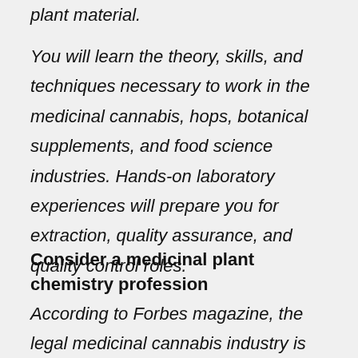plant material.
You will learn the theory, skills, and techniques necessary to work in the medicinal cannabis, hops, botanical supplements, and food science industries. Hands-on laboratory experiences will prepare you for extraction, quality assurance, and quality control roles.
Consider a medicinal plant chemistry profession
According to Forbes magazine, the legal medicinal cannabis industry is projected to grow from $52 million in 2017 to $2.5 billion by 2027. As of July 2019, medicinal cannabis is